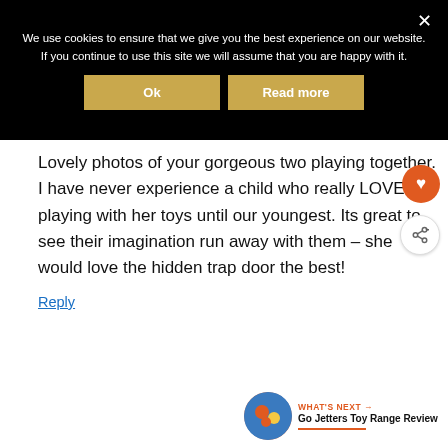We use cookies to ensure that we give you the best experience on our website. If you continue to use this site we will assume that you are happy with it.
Ok
Read more
Lovely photos of your gorgeous two playing together. I have never experience a child who really LOVES playing with her toys until our youngest. Its great to see their imagination run away with them – she would love the hidden trap door the best!
Reply
WHAT'S NEXT → Go Jetters Toy Range Review